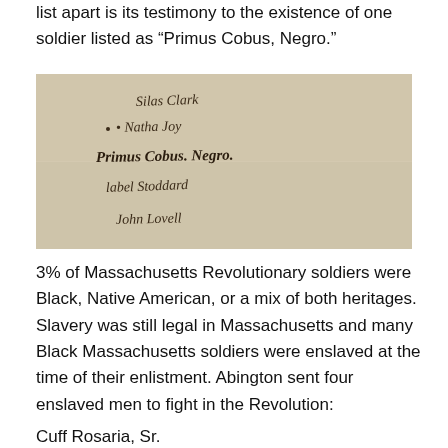list apart is its testimony to the existence of one soldier listed as “Primus Cobus, Negro.”
[Figure (photo): A historical handwritten document (muster roll) with cursive script listing names including Silas Clark, Natha Joy, Primus Cobus Negro, label Stoddard, John Lovell]
3% of Massachusetts Revolutionary soldiers were Black, Native American, or a mix of both heritages. Slavery was still legal in Massachusetts and many Black Massachusetts soldiers were enslaved at the time of their enlistment. Abington sent four enslaved men to fight in the Revolution:
Cuff Rosaria, Sr.